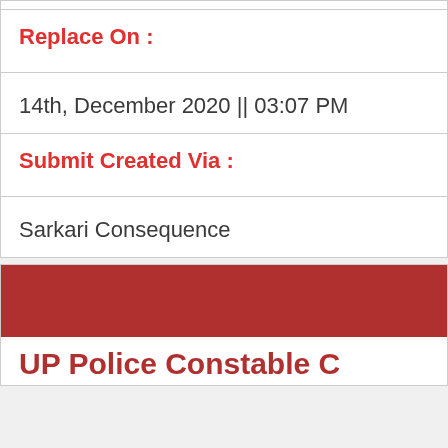Replace On :
14th, December 2020 || 03:07 PM
Submit Created Via :
Sarkari Consequence
UP Police Constable C